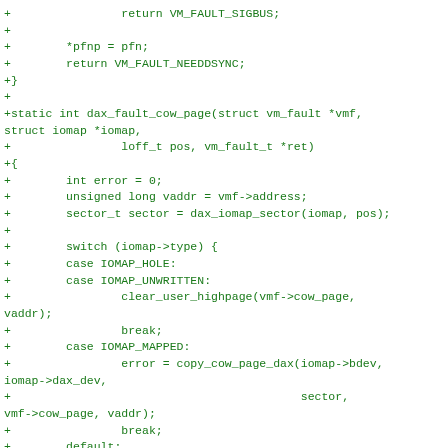[Figure (screenshot): Source code diff showing a C function dax_fault_cow_page with added lines (prefixed with +) in green monospace font on white background. The code includes return statements, function signature, variable declarations, and a switch statement with cases for IOMAP_HOLE, IOMAP_UNWRITTEN, IOMAP_MAPPED, and default.]